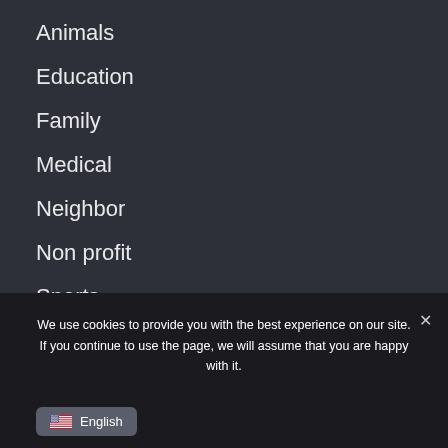Animals
Education
Family
Medical
Neighbor
Non profit
Sports
Urgent
We use cookies to provide you with the best experience on our site. If you continue to use the page, we will assume that you are happy with it.